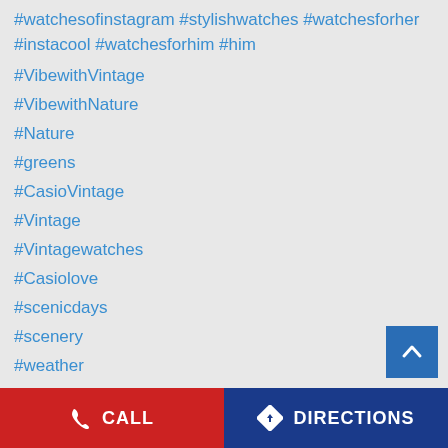#watchesofinstagram #stylishwatches #watchesforher #instacool #watchesforhim #him
#VibewithVintage
#VibewithNature
#Nature
#greens
#CasioVintage
#Vintage
#Vintagewatches
#Casiolove
#scenicdays
#scenery
#weather
#flowers
#watchesofinstagram
CALL   DIRECTIONS